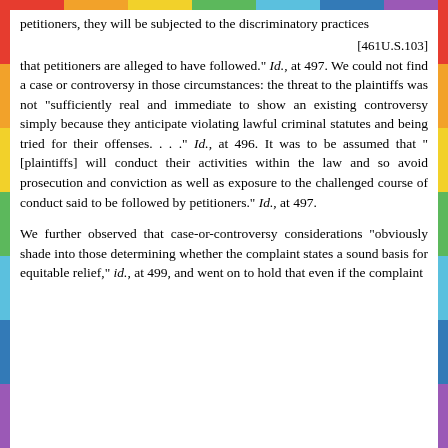petitioners, they will be subjected to the discriminatory practices
[461U.S.103]
that petitioners are alleged to have followed." Id., at 497. We could not find a case or controversy in those circumstances: the threat to the plaintiffs was not "sufficiently real and immediate to show an existing controversy simply because they anticipate violating lawful criminal statutes and being tried for their offenses. . . ." Id., at 496. It was to be assumed that "[plaintiffs] will conduct their activities within the law and so avoid prosecution and conviction as well as exposure to the challenged course of conduct said to be followed by petitioners." Id., at 497.
We further observed that case-or-controversy considerations "obviously shade into those determining whether the complaint states a sound basis for equitable relief," id., at 499, and went on to hold that even if the complaint